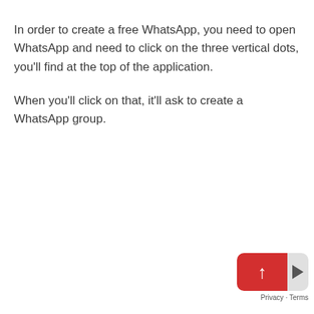In order to create a free WhatsApp, you need to open WhatsApp and need to click on the three vertical dots, you'll find at the top of the application.
When you'll click on that, it'll ask to create a WhatsApp group.